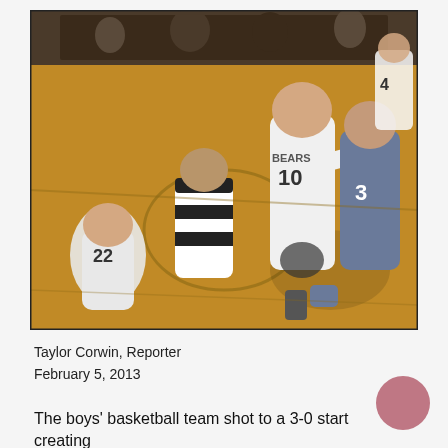[Figure (photo): Boys basketball game on a wood-floor gymnasium court. A player wearing white jersey number 10 sets a screen or guard position. A referee in black-and-white stripes stands nearby. Another player in white jersey number 22 is at lower left. An opposing player in dark jersey number 3 runs to the right. Additional players visible in background.]
Taylor Corwin, Reporter
February 5, 2013
The boys' basketball team shot to a 3-0 start creating